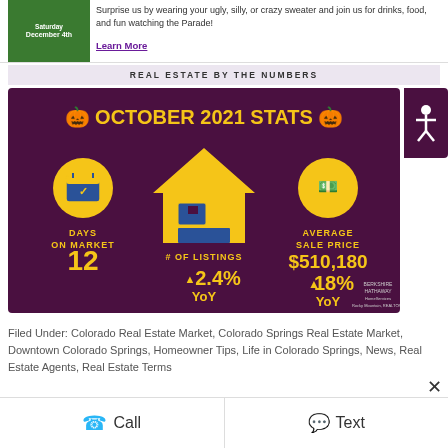Surprise us by wearing your ugly, silly, or crazy sweater and join us for drinks, food, and fun watching the Parade!
Learn More
REAL ESTATE BY THE NUMBERS
[Figure (infographic): October 2021 real estate stats infographic on dark purple background. Shows three metrics: Days on Market = 12, # of Listings up 2.4% YoY, Average Sale Price $510,180 up 18% YoY. Berkshire Hathaway branding.]
Filed Under: Colorado Real Estate Market, Colorado Springs Real Estate Market, Downtown Colorado Springs, Homeowner Tips, Life in Colorado Springs, News, Real Estate Agents, Real Estate Terms
Tagged With: Colorado Real Estate, Colorado Springs Real
Call   Text